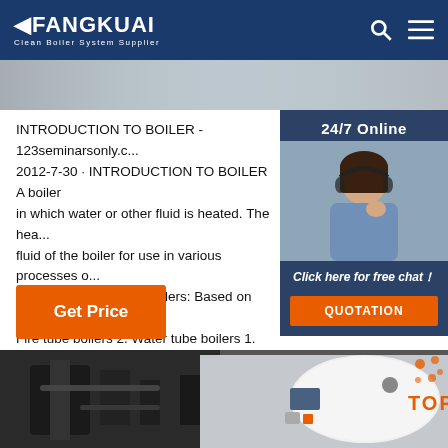FANGKUAI Clean Boiler System Supplier
[Figure (photo): Light industrial background hero image strip]
INTRODUCTION TO BOILER - 123seminarsonly.c... 2012-7-30 · INTRODUCTION TO BOILER A boiler in which water or other fluid is heated. The heat... fluid of the boiler for use in various processes o... applications Types of Boilers: Based on Principle... Fire tube boilers 2. Water tube boilers 1. Fire tu...
[Figure (photo): 24/7 Online customer service representative with headset, sidebar panel with 'Click here for free chat!' and QUOTATION button]
[Figure (photo): Bottom image showing industrial boiler equipment - dark machinery on left and white cylindrical boiler tank on right, with TOP badge overlay]